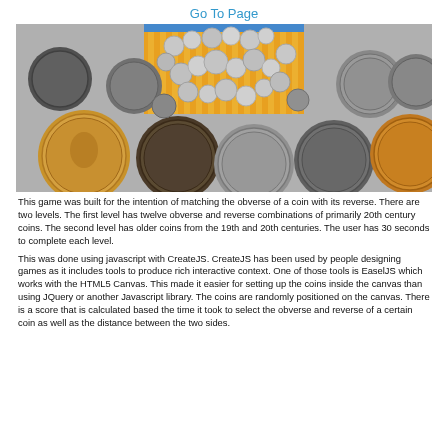Go To Page
[Figure (photo): A photograph showing multiple US coins of various denominations spread on a surface, including pennies, nickels, dimes, quarters, half-dollars, and dollar coins. Some coins are displayed on an orange/yellow striped background in the center, showing the obverse (heads) sides.]
This game was built for the intention of matching the obverse of a coin with its reverse. There are two levels. The first level has twelve obverse and reverse combinations of primarily 20th century coins. The second level has older coins from the 19th and 20th centuries. The user has 30 seconds to complete each level.
This was done using javascript with CreateJS. CreateJS has been used by people designing games as it includes tools to produce rich interactive context. One of those tools is EaselJS which works with the HTML5 Canvas. This made it easier for setting up the coins inside the canvas than using JQuery or another Javascript library. The coins are randomly positioned on the canvas. There is a score that is calculated based the time it took to select the obverse and reverse of a certain coin as well as the distance between the two sides.